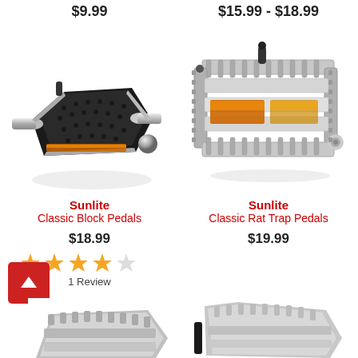$9.99
$15.99 - $18.99
[Figure (photo): Black Sunlite Classic Block Pedals bicycle pedal, angled view showing textured top and chrome axle]
[Figure (photo): Silver/chrome Sunlite Classic Rat Trap Pedals bicycle pedal, angled view showing cage design with reflector]
Sunlite Classic Block Pedals
$18.99
1 Review
Sunlite Classic Rat Trap Pedals
$19.99
[Figure (photo): Partial view of silver bicycle pedal at bottom left]
[Figure (photo): Partial view of silver bicycle pedal at bottom right]